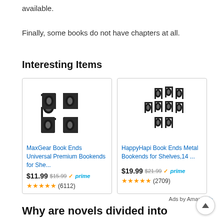available.
Finally, some books do not have chapters at all.
Interesting Items
[Figure (other): Advertisement card for MaxGear Book Ends Universal Premium Bookends for She... priced at $11.99 (was $15.99), Prime eligible, 5 stars, 6112 reviews]
[Figure (other): Advertisement card for HappyHapi Book Ends Metal Bookends for Shelves,14 ... priced at $19.99 (was $21.99), Prime eligible, 5 stars, 2709 reviews]
Ads by Amazon
Why are novels divided into chapters?